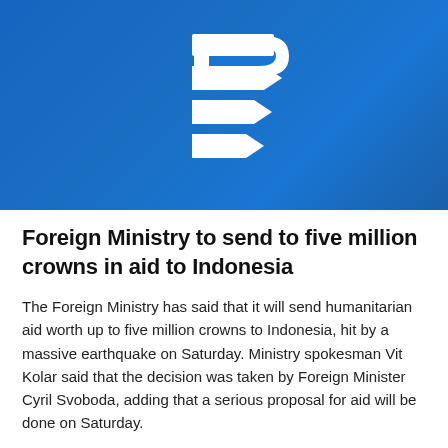[Figure (logo): Czech Radio (Český rozhlas) logo — white stylized letter R made of four horizontal bars/stripes on a blue gradient background]
Foreign Ministry to send to five million crowns in aid to Indonesia
The Foreign Ministry has said that it will send humanitarian aid worth up to five million crowns to Indonesia, hit by a massive earthquake on Saturday. Ministry spokesman Vit Kolar said that the decision was taken by Foreign Minister Cyril Svoboda, adding that a serious proposal for aid will be done on Saturday.